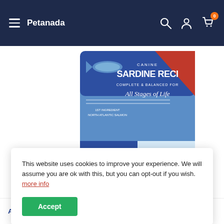Petanada
[Figure (photo): Dog food bag - Canine Sardine Recipe, complete & balanced for All Stages of Life, Legume Free, 100% All-Natural, with fish and dog illustrations]
[Figure (photo): Thumbnail of the same sardine recipe dog food bag]
This website uses cookies to improve your experience. We will assume you are ok with this, but you can opt-out if you wish. more info
Accept
AutoShip: $50.59 (Save 5% more) &Save